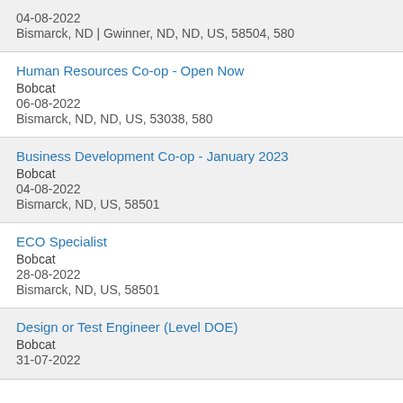04-08-2022
Bismarck, ND | Gwinner, ND, ND, US, 58504, 580
Human Resources Co-op - Open Now
Bobcat
06-08-2022
Bismarck, ND, ND, US, 53038, 580
Business Development Co-op - January 2023
Bobcat
04-08-2022
Bismarck, ND, US, 58501
ECO Specialist
Bobcat
28-08-2022
Bismarck, ND, US, 58501
Design or Test Engineer (Level DOE)
Bobcat
31-07-2022